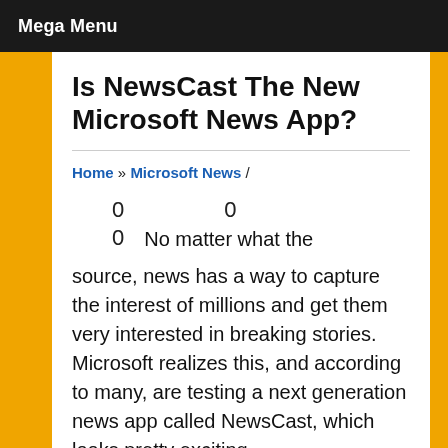Mega Menu
Is NewsCast The New Microsoft News App?
Home » Microsoft News /
0    0
0   No matter what the source, news has a way to capture the interest of millions and get them very interested in breaking stories. Microsoft realizes this, and according to many, are testing a next generation news app called NewsCast, which looks pretty exciting.